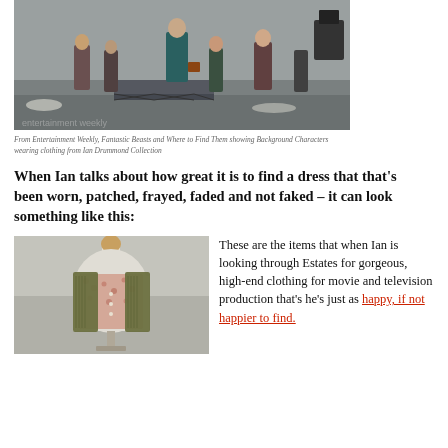[Figure (photo): On-set photo from Fantastic Beasts and Where to Find Them showing actors and background characters in period costume on a film set street scene]
From Entertainment Weekly, Fantastic Beasts and Where to Find Them showing Background Characters wearing clothing from Ian Drummond Collection
When Ian talks about how great it is to find a dress that that's been worn, patched, frayed, faded and not faked – it can look something like this:
[Figure (photo): A mannequin wearing a vintage olive green cardigan over a floral blouse, displayed on a dress form]
These are the items that when Ian is looking through Estates for gorgeous, high-end clothing for movie and television production that's he's just as happy, if not happier to find.